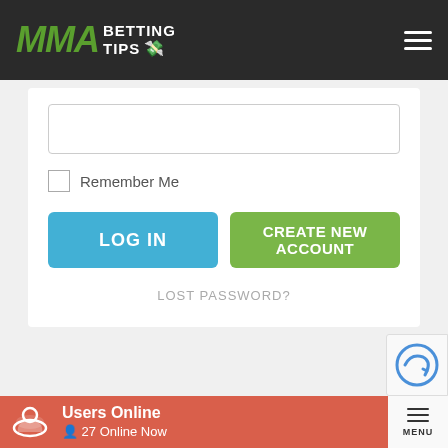[Figure (logo): MMA Betting Tips logo with green italic MMA text and white BETTING TIPS text on dark background]
[Figure (screenshot): Login form with password input field, Remember Me checkbox, LOG IN button (blue), CREATE NEW ACCOUNT button (green), and LOST PASSWORD? link]
Remember Me
LOG IN
CREATE NEW ACCOUNT
LOST PASSWORD?
Users Online
27 Online Now